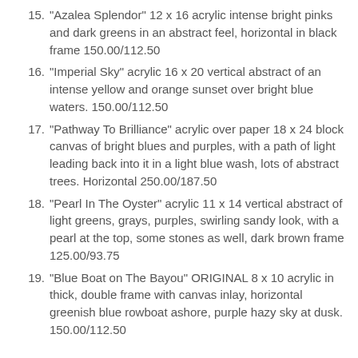15. "Azalea Splendor" 12 x 16 acrylic intense bright pinks and dark greens in an abstract feel, horizontal in black frame 150.00/112.50
16. "Imperial Sky" acrylic 16 x 20 vertical abstract of an intense yellow and orange sunset over bright blue waters. 150.00/112.50
17. "Pathway To Brilliance" acrylic over paper 18 x 24 block canvas of bright blues and purples, with a path of light leading back into it in a light blue wash, lots of abstract trees. Horizontal 250.00/187.50
18. "Pearl In The Oyster" acrylic 11 x 14 vertical abstract of light greens, grays, purples, swirling sandy look, with a pearl at the top, some stones as well, dark brown frame 125.00/93.75
19. "Blue Boat on The Bayou" ORIGINAL 8 x 10 acrylic in thick, double frame with canvas inlay, horizontal greenish blue rowboat ashore, purple hazy sky at dusk. 150.00/112.50